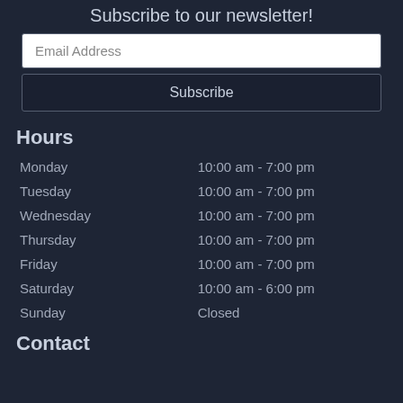Subscribe to our newsletter!
Email Address
Subscribe
Hours
| Day | Hours |
| --- | --- |
| Monday | 10:00 am - 7:00 pm |
| Tuesday | 10:00 am - 7:00 pm |
| Wednesday | 10:00 am - 7:00 pm |
| Thursday | 10:00 am - 7:00 pm |
| Friday | 10:00 am - 7:00 pm |
| Saturday | 10:00 am - 6:00 pm |
| Sunday | Closed |
Contact